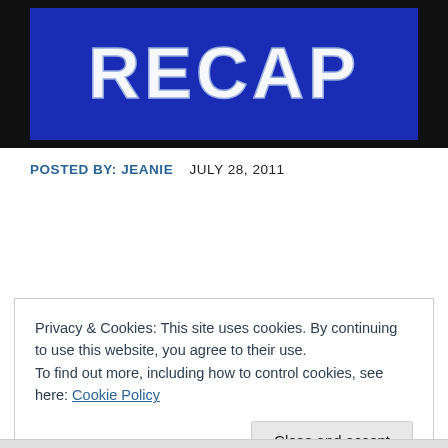[Figure (screenshot): Blue banner image with white bold text reading RECAP on dark blue background with black border]
POSTED BY: JEANIE    JULY 28, 2011
Privacy & Cookies: This site uses cookies. By continuing to use this website, you agree to their use.
To find out more, including how to control cookies, see here: Cookie Policy
Close and accept